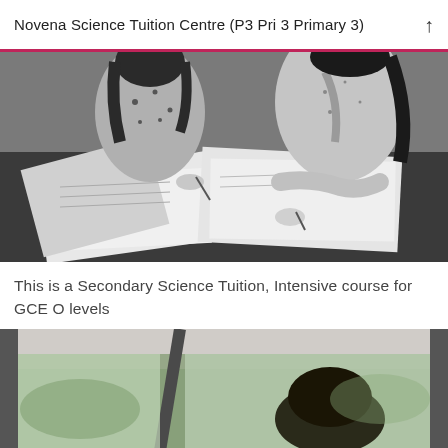Novena Science Tuition Centre (P3 Pri 3 Primary 3)
[Figure (photo): Black and white photo of two female students studying at a dark table with papers and notebooks spread out, one writing with a pen.]
This is a Secondary Science Tuition, Intensive course for GCE O levels
[Figure (photo): Color photo showing the interior of a car with a person sitting in the back seat, viewed from behind, with blurred trees visible through the window.]